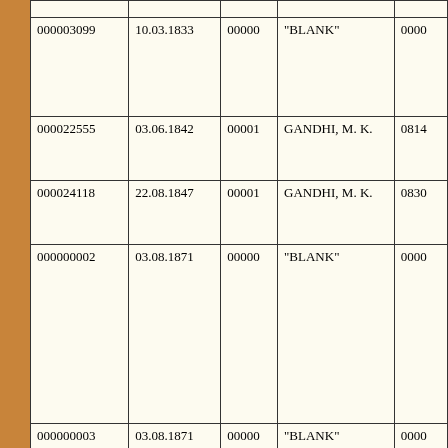| ID | Date | Code | Name | Ref |
| --- | --- | --- | --- | --- |
| 000003099 | 10.03.1833 | 00000 | "BLANK" | 0000... |
| 000022555 | 03.06.1842 | 00001 | GANDHI, M. K. | 0814... |
| 000024118 | 22.08.1847 | 00001 | GANDHI, M. K. | 0830... |
| 000000002 | 03.08.1871 | 00000 | "BLANK" | 0000... |
| 000000003 | 03.08.1871 | 00000 | "BLANK" | 0000... |
| 000000001 | 09.11.1871 | 00000 | "BLANK" | 0000... |
| 000030531 | 01.11.1883 | 00001 | GANDHI, M. K. | 0881... |
| 000003034 | 27.03.1884 | 00000 | "BLANK" | 0000... |